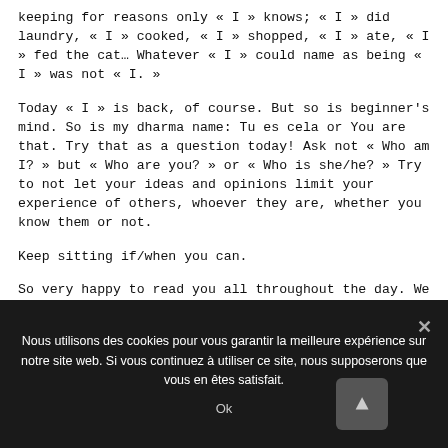keeping for reasons only « I » knows; « I » did laundry, « I » cooked, « I » shopped, « I » ate, « I » fed the cat… Whatever « I » could name as being « I » was not « I. »
Today « I » is back, of course. But so is beginner's mind. So is my dharma name: Tu es cela or You are that. Try that as a question today! Ask not « Who am I? » but « Who are you? » or « Who is she/he? » Try to not let your ideas and opinions limit your experience of others, whoever they are, whether you know them or not.
Keep sitting if/when you can.
So very happy to read you all throughout the day. We are more than 40 official participants, in almost 10 countries, and countless cities. Who are we?
Nous utilisons des cookies pour vous garantir la meilleure expérience sur notre site web. Si vous continuez à utiliser ce site, nous supposerons que vous en êtes satisfait.
Ok